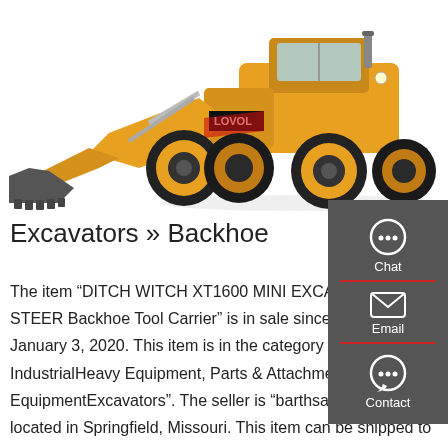[Figure (photo): A large yellow LOVOL wheel loader/backhoe with a front bucket attachment, photographed on white background]
Excavators » Backhoe
The item "DITCH WITCH XT1600 MINI EXCAVATOR SKID STEER Backhoe Tool Carrier" is in sale since Friday, January 3, 2020. This item is in the category "Business & IndustrialHeavy Equipment, Parts & AttachmentsHeavy EquipmentExcavators". The seller is "barthsales" and is located in Springfield, Missouri. This item can be shipped to